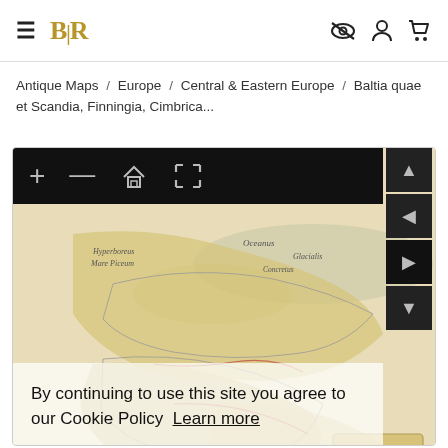BLR [logo with hamburger menu, user, cart, and visibility icons]
Antique Maps / Europe / Central & Eastern Europe / Baltia quae et Scandia, Finningia, Cimbrica...
[Figure (screenshot): Antique map viewer showing an old map of Northern Europe/Baltic region with Latin text including Oceanus, Glacialis, Hyperboreus, Mare Piceum, Concretus. Viewer has zoom controls (+, -, home, expand), navigation arrows (up, left, right, down). A cookie consent overlay is visible with text 'By continuing to use this site you agree to our Cookie Policy  Learn more' and a gold 'Got it!' button.]
By continuing to use this site you agree to our Cookie Policy  Learn more
Got it!